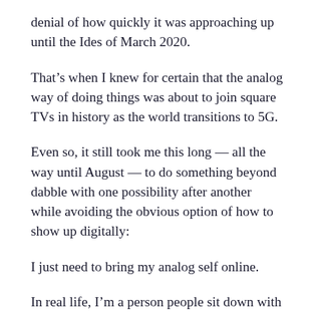denial of how quickly it was approaching up until the Ides of March 2020.
That’s when I knew for certain that the analog way of doing things was about to join square TVs in history as the world transitions to 5G.
Even so, it still took me this long — all the way until August — to do something beyond dabble with one possibility after another while avoiding the obvious option of how to show up digitally:
I just need to bring my analog self online.
In real life, I’m a person people sit down with